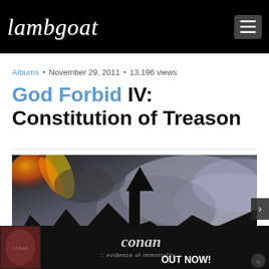Lambgoat [logo] [hamburger menu]
Albums • November 29, 2011 • 13,196 views
God Forbid IV: Constitution of Treason
[Figure (illustration): Album cover / promotional image showing a dark apocalyptic battle scene with fire and smoke clouds]
[Figure (illustration): Advertisement banner for Conan - Evidence of Immortality album, OUT NOW!]